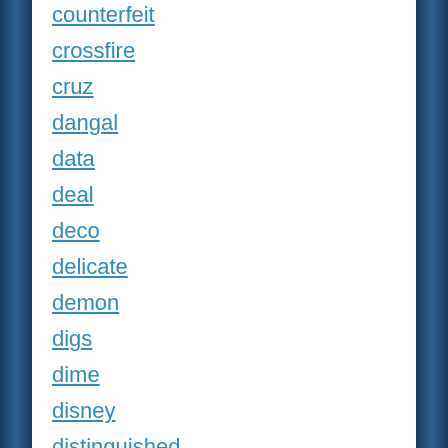counterfeit
crossfire
cruz
dangal
data
deal
deco
delicate
demon
digs
dime
disney
distinguished
dodd